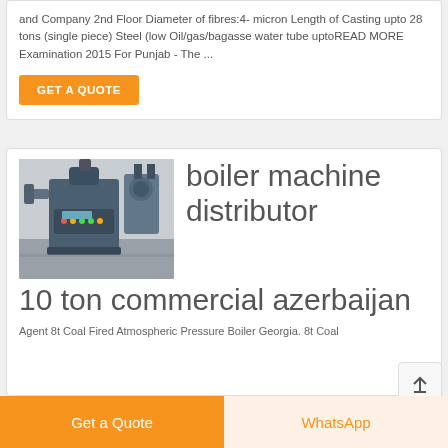and Company 2nd Floor Diameter of fibres:4- micron Length of Casting upto 28 tons (single piece) Steel (low Oil/gas/bagasse water tube uptoREAD MORE Examination 2015 For Punjab - The ...
GET A QUOTE
[Figure (photo): Industrial boiler machine in a factory setting, dark blue/grey colored equipment with control panels and pipes]
boiler machine distributor 10 ton commercial azerbaijan
Agent 8t Coal Fired Atmospheric Pressure Boiler Georgia. 8t Coal
Get a Quote
WhatsApp